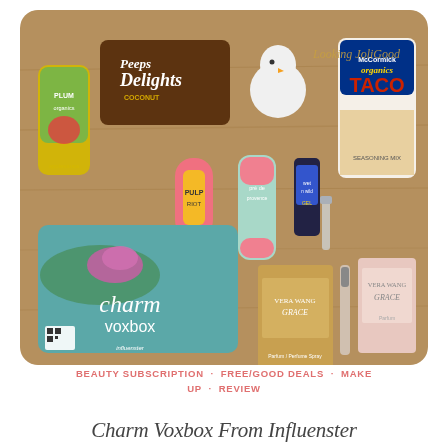[Figure (photo): Flat lay photograph on a wooden surface showing various products: Peeps Delights Coconut dark chocolate, Plum Organics applesauce pouch, Pulp Riot hair product bottle, Pré de Provence face cream tube, wet n wild nail gel, Vera Wang Grace perfume samples, McCormick Organics Taco seasoning mix, charm VoxBox from Influenster. Text 'Looking Joli Good' appears in the upper right corner of the image.]
BEAUTY SUBSCRIPTION · FREE/GOOD DEALS · MAKE UP · REVIEW
Charm Voxbox From Influenster